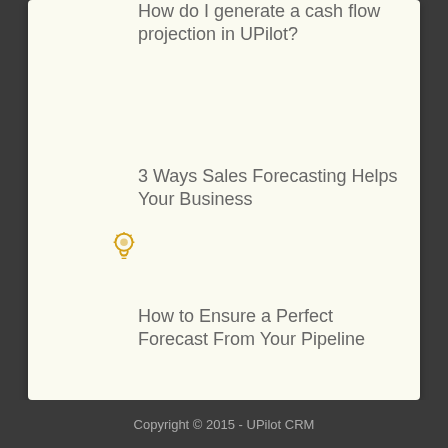How do I generate a cash flow projection in UPilot?
3 Ways Sales Forecasting Helps Your Business
How to Ensure a Perfect Forecast From Your Pipeline
How is My Sales Forecast Calculated in UPilot CRM?
Copyright © 2015 - UPilot CRM